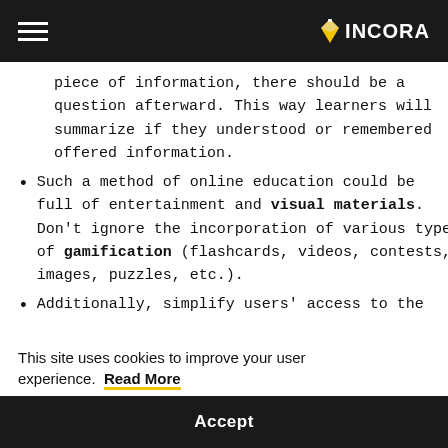INCORA (navigation header)
piece of information, there should be a question afterward. This way learners will summarize if they understood or remembered offered information.
Such a method of online education could be full of entertainment and visual materials. Don't ignore the incorporation of various types of gamification (flashcards, videos, contests, images, puzzles, etc.).
Additionally, simplify users' access to the
This site uses cookies to improve your user experience. Read More
Accept